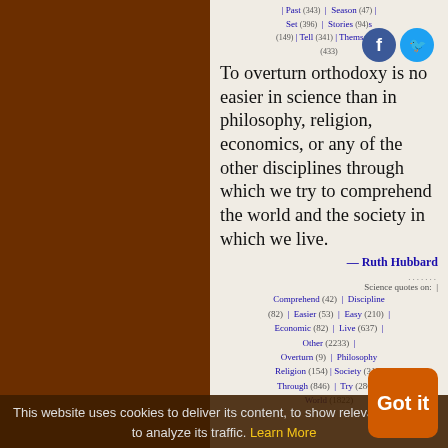Past (343) | Season (47) | Set (396) | Stories (94) | (149) | Tell (341) | Themselves (433)
To overturn orthodoxy is no easier in science than in philosophy, religion, economics, or any of the other disciplines through which we try to comprehend the world and the society in which we live.
— Ruth Hubbard
Science quotes on: | Comprehend (42) | Discipline (82) | Easier (53) | Easy (210) | Economic (82) | Live (637) | Other (2233) | Overturn (9) | Philosophy (94) | Religion (154) | Society (315) | Through (846) | Try (286) | World (1822)
This website uses cookies to deliver its content, to show relevant ads and to analyze its traffic. Learn More